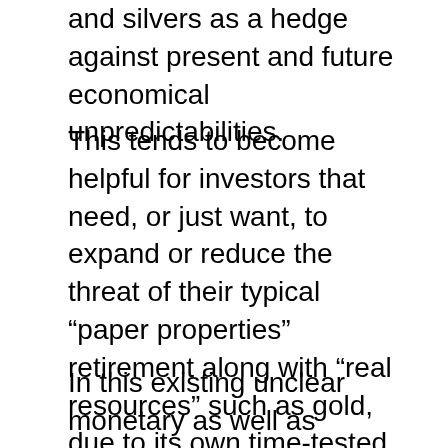and silvers as a hedge against present and future economical unpredictabilities.
This tends to become helpful for investors that need, or just want, to expand or reduce the threat of their typical “paper properties” retirement along with “real resources” such as gold, due to its own time-tested as well as established use (a number of thousand years now …) as a shop of riches and also hedge against economic anxiety and also political threat.
In this existing unclear monetary as well as political reality that our company locate ourselves in right now and going forward, it’s right now, as well as please excuse our team for being actually dull, completely necessary